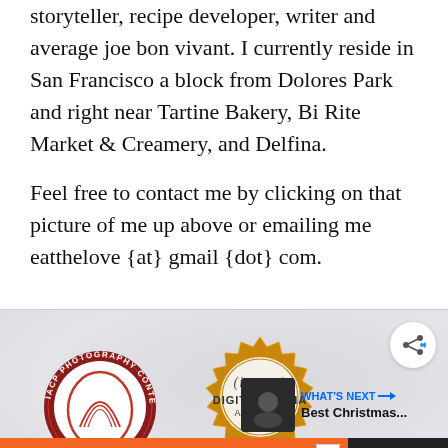storyteller, recipe developer, writer and average joe bon vivant. I currently reside in San Francisco a block from Dolores Park and right near Tartine Bakery, Bi Rite Market & Creamery, and Delfina.
Feel free to contact me by clicking on that picture of me up above or emailing me eatthelove {at} gmail {dot} com.
[Figure (logo): IACP Photography Contest circular badge with red and white design]
[Figure (logo): IACP Digital Media Awards gold seal badge]
[Figure (other): What's Next panel showing a dark thumbnail image with text 'Best Christmas...']
[Figure (other): Advertisement bar: 'You can help hungry kids.' No Kid Hungry logo with LEARN HOW button on orange background]